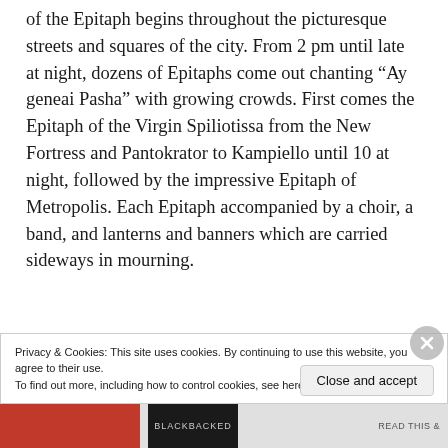of the Epitaph begins throughout the picturesque streets and squares of the city. From 2 pm until late at night, dozens of Epitaphs come out chanting “Ay geneai Pasha” with growing crowds. First comes the Epitaph of the Virgin Spiliotissa from the New Fortress and Pantokrator to Kampiello until 10 at night, followed by the impressive Epitaph of Metropolis. Each Epitaph accompanied by a choir, a band, and lanterns and banners which are carried sideways in mourning.
Privacy & Cookies: This site uses cookies. By continuing to use this website, you agree to their use.
To find out more, including how to control cookies, see here: Cookie Policy
Close and accept